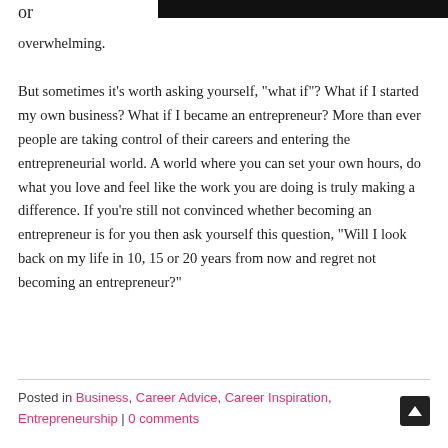or overwhelming.
But sometimes it’s worth asking yourself, “what if”? What if I started my own business? What if I became an entrepreneur? More than ever people are taking control of their careers and entering the entrepreneurial world. A world where you can set your own hours, do what you love and feel like the work you are doing is truly making a difference. If you’re still not convinced whether becoming an entrepreneur is for you then ask yourself this question, “Will I look back on my life in 10, 15 or 20 years from now and regret not becoming an entrepreneur?”
Posted in Business, Career Advice, Career Inspiration, Entrepreneurship | 0 comments